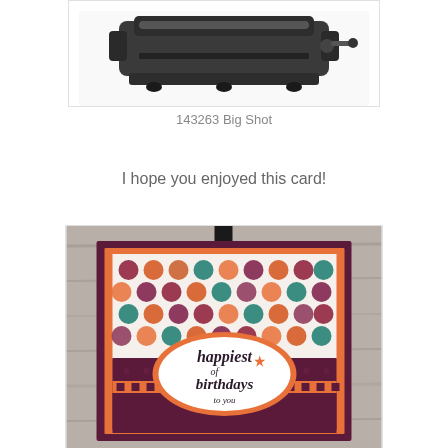[Figure (photo): Top portion of a Big Shot die-cutting machine in dark gray/black color, showing the roller and handle mechanism against a white background]
143263 Big Shot
I hope you enjoyed this card!
[Figure (photo): A handmade birthday card featuring a colorful polka dot/circle patterned paper in orange, red, teal, and purple on an orange mat with dark maroon/burgundy border, and a white oval label in the center with the script text 'happiest of birthdays to you' and a small orange star, photographed on a rustic gray wood background]